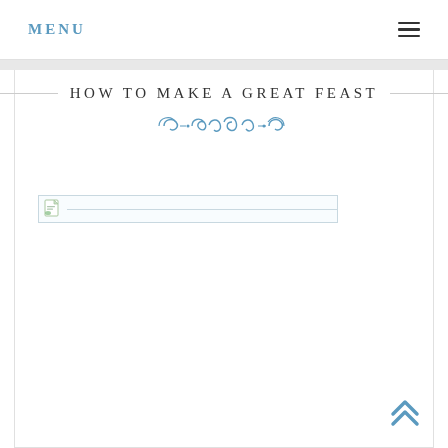MENU
HOW TO MAKE A GREAT FEAST
[Figure (illustration): Broken image placeholder with a small document/leaf icon on the left and a horizontal line extending to the right, inside a light blue-bordered rectangle.]
Scroll to top arrow (double chevron up icon)